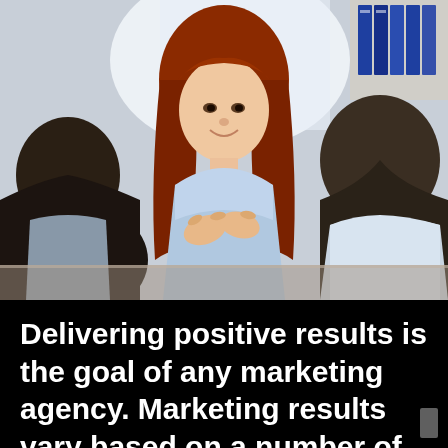[Figure (photo): A business meeting scene: a young red-haired woman in a light blue shirt gestures with her hands while speaking across a table to two other people seen from behind — one on the left with dark hair, one on the right. Background shows a bright window and blue binders on a shelf.]
Delivering positive results is the goal of any marketing agency.  Marketing results vary based on a number of conditions, experience, and